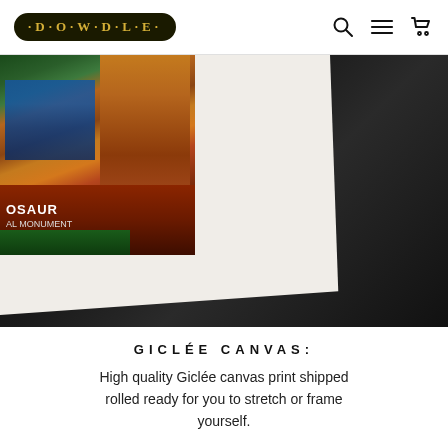DOWDLE | navigation icons: search, menu, cart
[Figure (photo): Close-up photo of a fine art print/canvas corner showing a Dinosaur National Monument artwork with figures in blue, fossil formations in brown/orange, and a red signboard, placed on white paper/mat against a dark black background]
GICLÉE CANVAS:
High quality Giclée canvas print shipped rolled ready for you to stretch or frame yourself.